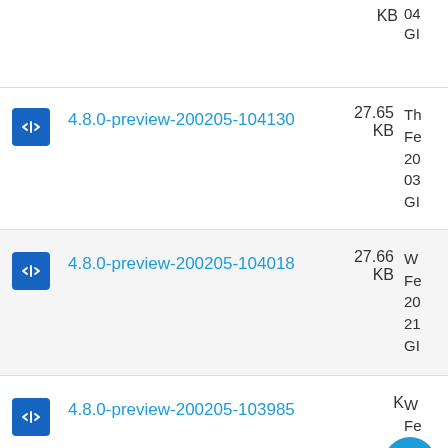| Icon | Package Name | Size | Meta |
| --- | --- | --- | --- |
| <> | 4.8.0-preview-200205-104130 | 27.65 KB | Th
Fe
20
03
GI |
| <> | 4.8.0-preview-200205-104018 | 27.66 KB | W
Fe
20
21
GI |
| <> | 4.8.0-preview-200205-103985 |  | W
Fe
20
19 |